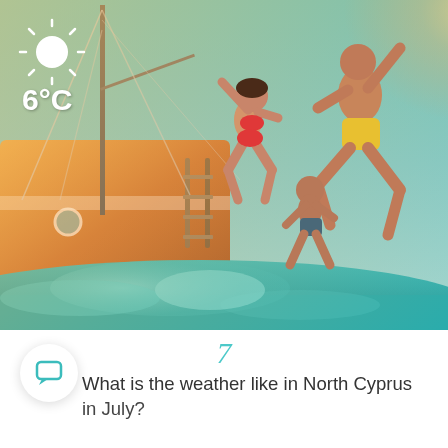[Figure (photo): People jumping off a wooden sailing boat into the sea on a sunny day. A woman in a red bikini jumps with arms raised, a man in yellow shorts leaps dramatically mid-air, and another person crouches at the water's edge. Sun glare visible on the right. A weather overlay in the top-left corner shows a sun icon and '6°C'.]
6°C
7
What is the weather like in North Cyprus in July?